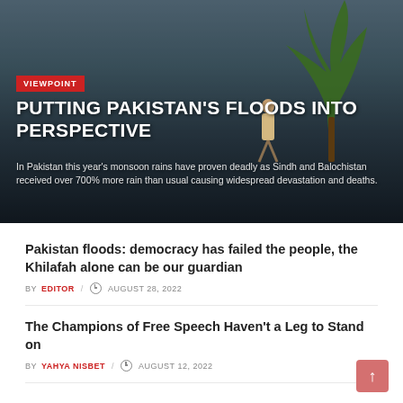[Figure (photo): Flood scene in Pakistan: a man standing in floodwater next to a cart loaded with belongings, a large tree visible to the right, hazy sky in background.]
VIEWPOINT
PUTTING PAKISTAN'S FLOODS INTO PERSPECTIVE
In Pakistan this year's monsoon rains have proven deadly as Sindh and Balochistan received over 700% more rain than usual causing widespread devastation and deaths.
Pakistan floods: democracy has failed the people, the Khilafah alone can be our guardian
BY EDITOR / AUGUST 28, 2022
The Champions of Free Speech Haven't a Leg to Stand on
BY YAHYA NISBET / AUGUST 12, 2022